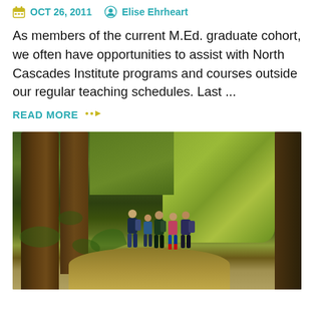OCT 26, 2011   Elise Ehrheart
As members of the current M.Ed. graduate cohort, we often have opportunities to assist with North Cascades Institute programs and courses outside our regular teaching schedules. Last ...
READ MORE
[Figure (photo): Group of people standing on a forest trail surrounded by large moss-covered tree trunks and green foliage]